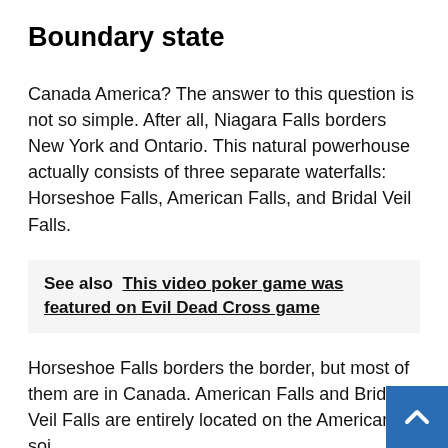Boundary state
Canada America? The answer to this question is not so simple. After all, Niagara Falls borders New York and Ontario. This natural powerhouse actually consists of three separate waterfalls: Horseshoe Falls, American Falls, and Bridal Veil Falls.
See also  This video poker game was featured on Evil Dead Cross game
Horseshoe Falls borders the border, but most of them are in Canada. American Falls and Bridal Veil Falls are entirely located on the American soil.